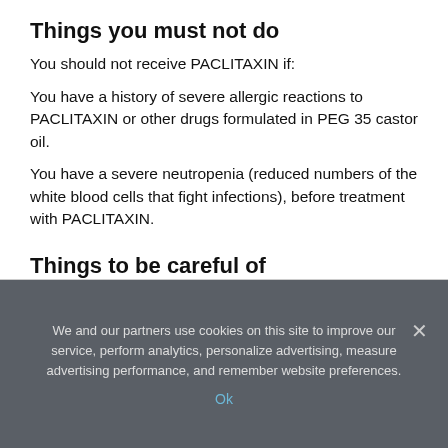Things you must not do
You should not receive PACLITAXIN if:
You have a history of severe allergic reactions to PACLITAXIN or other drugs formulated in PEG 35 castor oil.
You have a severe neutropenia (reduced numbers of the white blood cells that fight infections), before treatment with PACLITAXIN.
Things to be careful of
Be careful driving or operating machinery until you know how PACLITAXIN affects you.
We and our partners use cookies on this site to improve our service, perform analytics, personalize advertising, measure advertising performance, and remember website preferences.
Ok